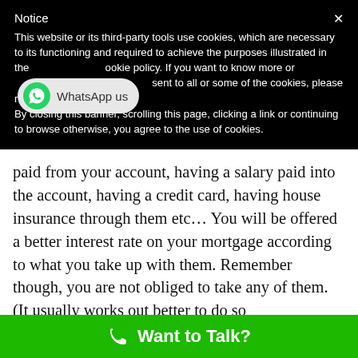Notice
This website or its third-party tools use cookies, which are necessary to its functioning and required to achieve the purposes illustrated in the cookie policy. If you want to know more or withdraw your consent to all or some of the cookies, please refer to the cookie policy.
By closing this banner, scrolling this page, clicking a link or continuing to browse otherwise, you agree to the use of cookies.
[Figure (other): WhatsApp us button with WhatsApp logo]
paid from your account, having a salary paid into the account, having a credit card, having house insurance through them etc… You will be offered a better interest rate on your mortgage according to what you take up with them. Remember though, you are not obliged to take any of them. (It usually works out better to do so
[Figure (other): Green call-to-action bar with phone icon and text 'Want to Talk?']